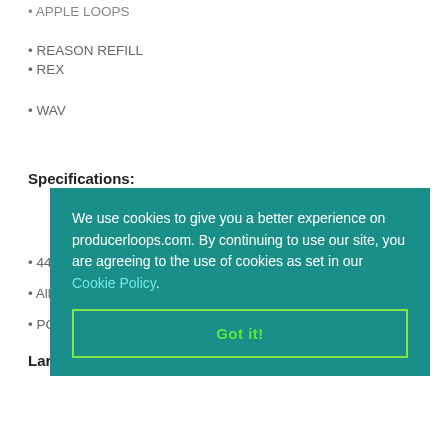• APPLE LOOPS
• REASON REFILL
• REX
• WAV
Specifications:
• 44.1
• All lo
• PC/M
Large
We have split each format into THREE separate downloads (one per
We use cookies to give you a better experience on producerloops.com. By continuing to use our site, you are agreeing to the use of cookies as set in our Cookie Policy.